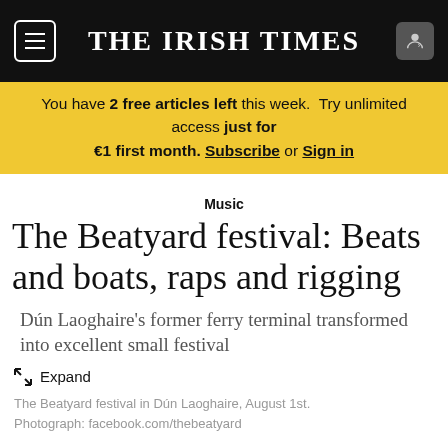THE IRISH TIMES
You have 2 free articles left this week. Try unlimited access just for €1 first month. Subscribe or Sign in
Music
The Beatyard festival: Beats and boats, raps and rigging
Dún Laoghaire's former ferry terminal transformed into excellent small festival
Expand
The Beatyard festival in Dún Laoghaire, August 1st. Photograph: facebook.com/thebeatyard